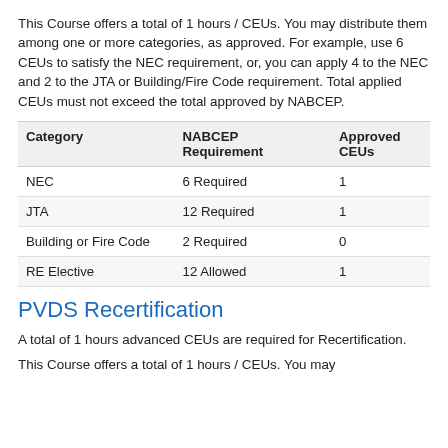This Course offers a total of 1 hours / CEUs. You may distribute them among one or more categories, as approved. For example, use 6 CEUs to satisfy the NEC requirement, or, you can apply 4 to the NEC and 2 to the JTA or Building/Fire Code requirement. Total applied CEUs must not exceed the total approved by NABCEP.
| Category | NABCEP Requirement | Approved CEUs |
| --- | --- | --- |
| NEC | 6 Required | 1 |
| JTA | 12 Required | 1 |
| Building or Fire Code | 2 Required | 0 |
| RE Elective | 12 Allowed | 1 |
PVDS Recertification
A total of 1 hours advanced CEUs are required for Recertification.
This Course offers a total of 1 hours / CEUs. You may